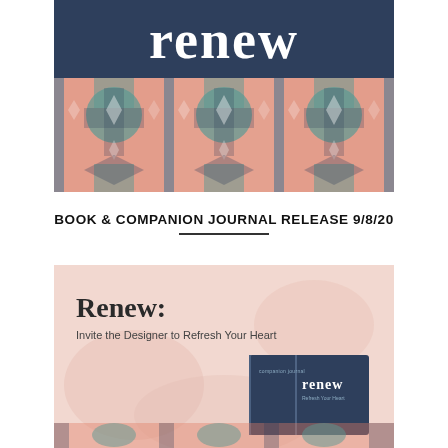[Figure (illustration): Book cover image showing the word 'renew' in large white serif font on a dark navy background, with a colorful geometric tile pattern below in coral/salmon, teal, and navy colors.]
BOOK & COMPANION JOURNAL RELEASE 9/8/20
[Figure (illustration): Pink/blush background promotional image showing 'Renew: Invite the Designer to Refresh Your Heart' title text with a dark navy companion journal book displayed.]